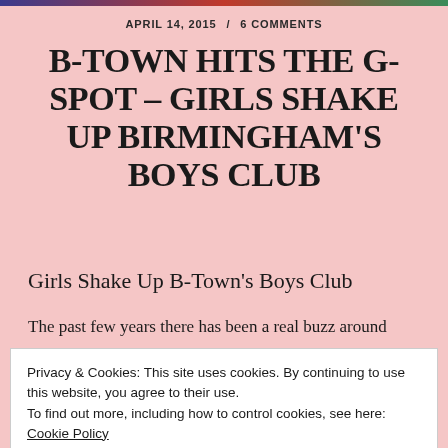APRIL 14, 2015 / 6 COMMENTS
B-TOWN HITS THE G-SPOT – GIRLS SHAKE UP BIRMINGHAM'S BOYS CLUB
Girls Shake Up B-Town's Boys Club
The past few years there has been a real buzz around
Privacy & Cookies: This site uses cookies. By continuing to use this website, you agree to their use.
To find out more, including how to control cookies, see here: Cookie Policy
Close and accept